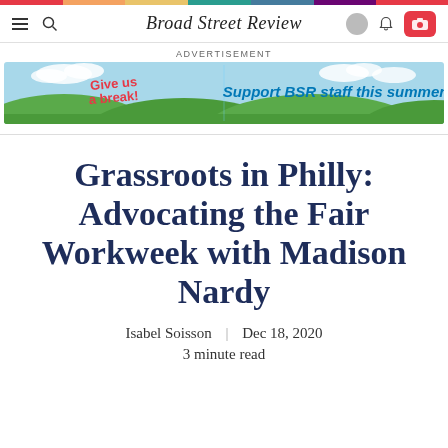Broad Street Review
[Figure (illustration): Advertisement banner for Broad Street Review summer support campaign with green hills, sky background, and text 'Give us a break! Support BSR staff this summer']
Grassroots in Philly: Advocating the Fair Workweek with Madison Nardy
Isabel Soisson  |  Dec 18, 2020
3 minute read